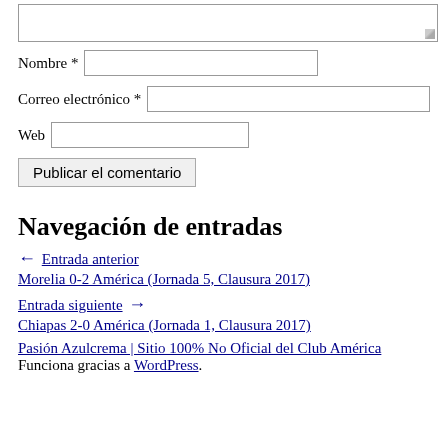[Figure (screenshot): Textarea input box (comment field, partially visible at top)]
Nombre *
Correo electrónico *
Web
Publicar el comentario
Navegación de entradas
← Entrada anterior
Morelia 0-2 América (Jornada 5, Clausura 2017)
Entrada siguiente →
Chiapas 2-0 América (Jornada 1, Clausura 2017)
Pasión Azulcrema | Sitio 100% No Oficial del Club América
Funciona gracias a WordPress.